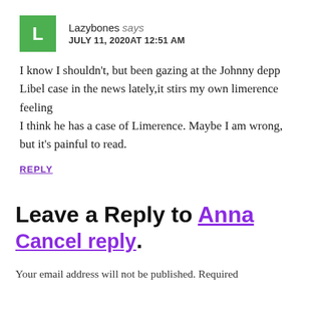Lazybones says
JULY 11, 2020AT 12:51 AM
I know I shouldn't, but been gazing at the Johnny depp Libel case in the news lately,it stirs my own limerence feeling
I think he has a case of Limerence. Maybe I am wrong, but it's painful to read.
REPLY
Leave a Reply to Anna Cancel reply
Your email address will not be published. Required